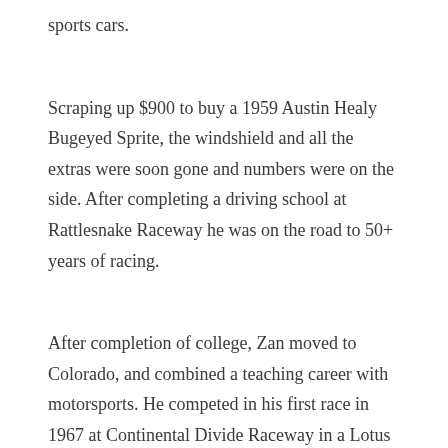sports cars.
Scraping up $900 to buy a 1959 Austin Healy Bugeyed Sprite, the windshield and all the extras were soon gone and numbers were on the side. After completing a driving school at Rattlesnake Raceway he was on the road to 50+ years of racing.
After completion of college, Zan moved to Colorado, and combined a teaching career with motorsports. He competed in his first race in 1967 at Continental Divide Raceway in a Lotus Super 7.
Leaving Colorado behind for a year in 1970 to move to London, England the racing continued with a new Merlyn Formula Ford. It was a out competition mixing with Formula